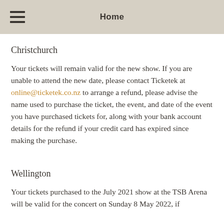Home
Christchurch
Your tickets will remain valid for the new show. If you are unable to attend the new date, please contact Ticketek at online@ticketek.co.nz to arrange a refund, please advise the name used to purchase the ticket, the event, and date of the event you have purchased tickets for, along with your bank account details for the refund if your credit card has expired since making the purchase.
Wellington
Your tickets purchased to the July 2021 show at the TSB Arena will be valid for the concert on Sunday 8 May 2022, if